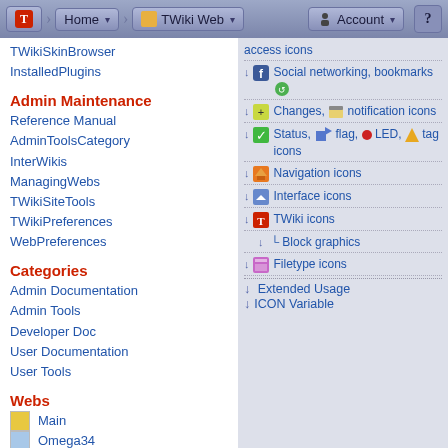T | Home | TWiki Web | Account | ?
TWikiSkinBrowser
InstalledPlugins
Admin Maintenance
Reference Manual
AdminToolsCategory
InterWikis
ManagingWebs
TWikiSiteTools
TWikiPreferences
WebPreferences
Categories
Admin Documentation
Admin Tools
Developer Doc
User Documentation
User Tools
Webs
Main
Omega34
Sandbox
TWiki
access icons
Social networking, bookmarks
Changes, notification icons
Status, flag, LED, tag icons
Navigation icons
Interface icons
TWiki icons
Block graphics
Filetype icons
Extended Usage
ICON Variable